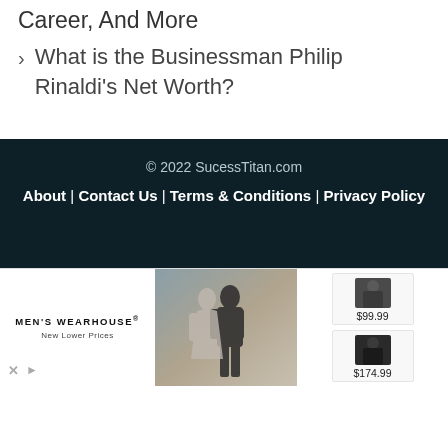What is the Businessman Philip Rinaldi's Net Worth?
© 2022 SucessTitan.com
About | Contact Us | Terms & Conditions | Privacy Policy
[Figure (photo): Men's Wearhouse advertisement showing a couple in formal wear, with product thumbnails showing suits priced at $99.99 and $174.99]